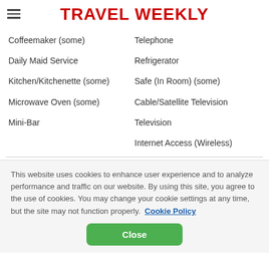TRAVEL WEEKLY
Coffeemaker (some)
Telephone
Daily Maid Service
Refrigerator
Kitchen/Kitchenette (some)
Safe (In Room) (some)
Microwave Oven (some)
Cable/Satellite Television
Mini-Bar
Television
Internet Access (Wireless)
This website uses cookies to enhance user experience and to analyze performance and traffic on our website. By using this site, you agree to the use of cookies. You may change your cookie settings at any time, but the site may not function properly. Cookie Policy
Close